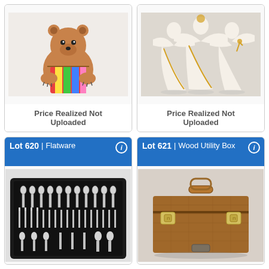[Figure (photo): Photo of a decorative ceramic bear figurine with colorful accessories]
Price Realized Not Uploaded
[Figure (photo): Photo of porcelain angel figurines with gold accents, set of three]
Price Realized Not Uploaded
Lot 620 | Flatware
[Figure (photo): Photo of a silverware flatware set in a black case]
Lot 621 | Wood Utility Box
[Figure (photo): Photo of a wooden utility box with handle and brass latches]